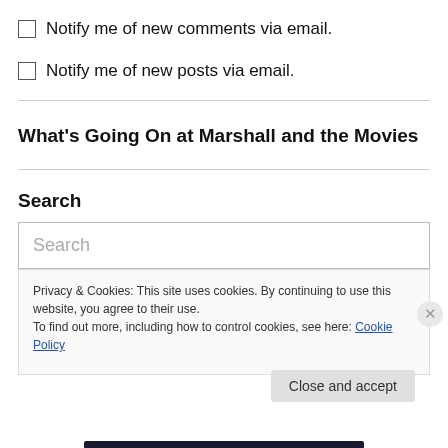Notify me of new comments via email.
Notify me of new posts via email.
What's Going On at Marshall and the Movies
Search
Search (placeholder)
Privacy & Cookies: This site uses cookies. By continuing to use this website, you agree to their use. To find out more, including how to control cookies, see here: Cookie Policy
Close and accept